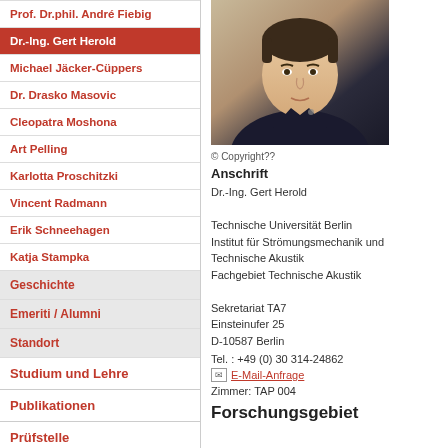Prof. Dr.phil. André Fiebig
Dr.-Ing. Gert Herold
Michael Jäcker-Cüppers
Dr. Drasko Masovic
Cleopatra Moshona
Art Pelling
Karlotta Proschitzki
Vincent Radmann
Erik Schneehagen
Katja Stampka
Geschichte
Emeriti / Alumni
Standort
Studium und Lehre
Publikationen
Prüfstelle
[Figure (photo): Headshot photo of Dr.-Ing. Gert Herold, a man in a dark shirt against a light background]
© Copyright??
Anschrift
Dr.-Ing. Gert Herold
Technische Universität Berlin
Institut für Strömungsmechanik und Technische Akustik
Fachgebiet Technische Akustik
Sekretariat TA7
Einsteinufer 25
D-10587 Berlin
Tel. : +49 (0) 30 314-24862
E-Mail-Anfrage
Zimmer: TAP 004
Forschungsgebiet